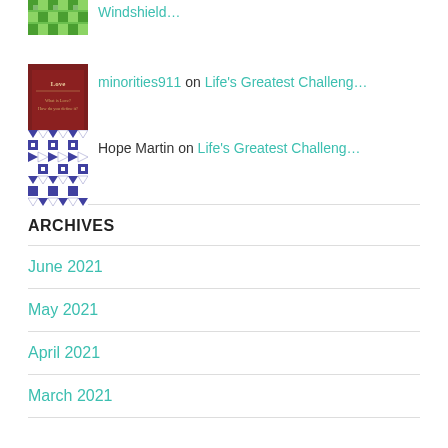Windshield...
minorities911 on Life's Greatest Challeng...
Hope Martin on Life's Greatest Challeng...
ARCHIVES
June 2021
May 2021
April 2021
March 2021